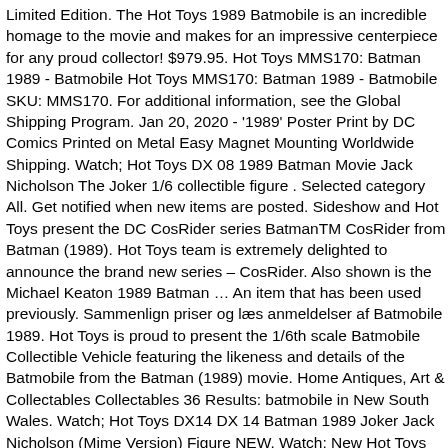Limited Edition. The Hot Toys 1989 Batmobile is an incredible homage to the movie and makes for an impressive centerpiece for any proud collector! $979.95. Hot Toys MMS170: Batman 1989 - Batmobile Hot Toys MMS170: Batman 1989 - Batmobile SKU: MMS170. For additional information, see the Global Shipping Program. Jan 20, 2020 - '1989' Poster Print by DC Comics Printed on Metal Easy Magnet Mounting Worldwide Shipping. Watch; Hot Toys DX 08 1989 Batman Movie Jack Nicholson The Joker 1/6 collectible figure . Selected category All. Get notified when new items are posted. Sideshow and Hot Toys present the DC CosRider series BatmanTM CosRider from Batman (1989). Hot Toys team is extremely delighted to announce the brand new series – CosRider. Also shown is the Michael Keaton 1989 Batman … An item that has been used previously. Sammenlign priser og læs anmeldelser af Batmobile 1989. Hot Toys is proud to present the 1/6th scale Batmobile Collectible Vehicle featuring the likeness and details of the Batmobile from the Batman (1989) movie. Home Antiques, Art & Collectables Collectables 36 Results: batmobile in New South Wales. Watch; Hot Toys DX14 DX 14 Batman 1989 Joker Jack Nicholson (Mime Version) Figure NEW. Watch; New Hot Toys 1/6 Batman The Dark Knight TDK Batmobile Tumbler MMS69 Japan EMS. Based on the 1989 movie Batman directed by Tim Burton. Add to Wishlist . Offered price of the product is $ 6.99. Related: 1989 batmobile lego 1989 batmobile toybiz 1989 batmobile 1/18 1989 batman batmobile 1989 kenner